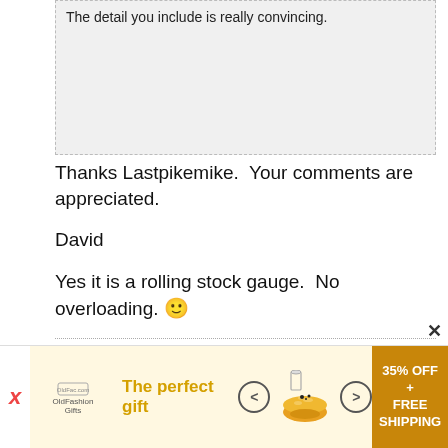The detail you include is really convincing.
Thanks Lastpikemike.  Your comments are appreciated.

David

Yes it is a rolling stock gauge.  No overloading. 🙂
To the world you are someone.    To someone you are the world

I cannot afford the luxury of a negative thought
[Figure (infographic): Advertisement banner: 'The perfect gift' with bowl image, arrows, and '35% OFF + FREE SHIPPING' offer in orange]